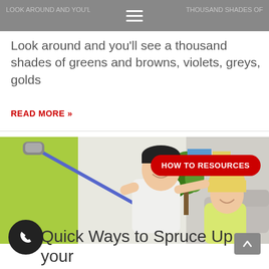Look around and you'll see a thousand shades of greens and browns, violets, greys, golds
READ MORE »
[Figure (photo): A man painting a wall green with a roller on an extension pole, a woman watching and smiling from behind him, green painted wall on left, plant and couch in background. A red pill-shaped badge reads 'HOW TO RESOURCES'.]
Quick Ways to Spruce Up your